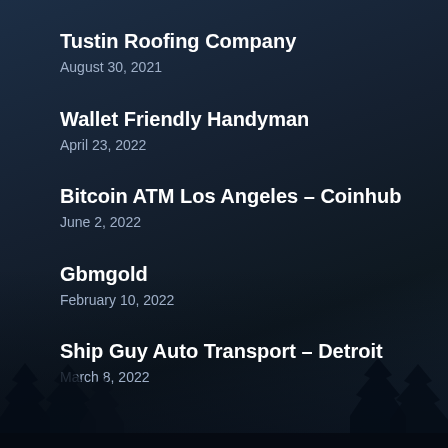Tustin Roofing Company
August 30, 2021
Wallet Friendly Handyman
April 23, 2022
Bitcoin ATM Los Angeles – Coinhub
June 2, 2022
Gbmgold
February 10, 2022
Ship Guy Auto Transport – Detroit
March 8, 2022